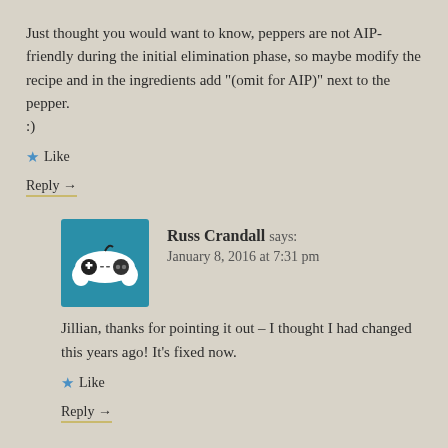Just thought you would want to know, peppers are not AIP-friendly during the initial elimination phase, so maybe modify the recipe and in the ingredients add "(omit for AIP)" next to the pepper.
:)
★ Like
Reply →
Russ Crandall says:
January 8, 2016 at 7:31 pm
[Figure (illustration): Teal/blue square avatar showing a video game controller icon in white and black]
Jillian, thanks for pointing it out – I thought I had changed this years ago! It's fixed now.
★ Like
Reply →